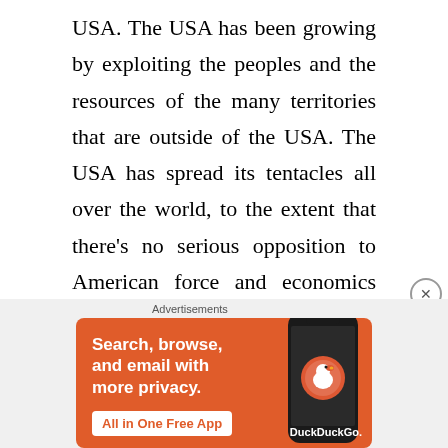USA. The USA has been growing by exploiting the peoples and the resources of the many territories that are outside of the USA. The USA has spread its tentacles all over the world, to the extent that there’s no serious opposition to American force and economics anywhere in the world now. But even this tremendous imperialism hasn’t been enough to put an end to the decay in the USA. It has only postponed and softened this decay because the vested interests of capitalism
[Figure (screenshot): DuckDuckGo advertisement banner with orange background showing text 'Search, browse, and email with more privacy. All in One Free App' with a phone image and DuckDuckGo logo]